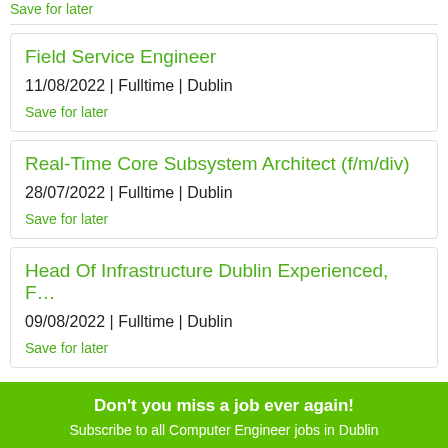Save for later
Field Service Engineer
11/08/2022 | Fulltime | Dublin
Save for later
Real-Time Core Subsystem Architect (f/m/div)
28/07/2022 | Fulltime | Dublin
Save for later
Head Of Infrastructure Dublin Experienced, F…
09/08/2022 | Fulltime | Dublin
Save for later
Don't you miss a job ever again!
Subscribe to all Computer Engineer jobs in Dublin